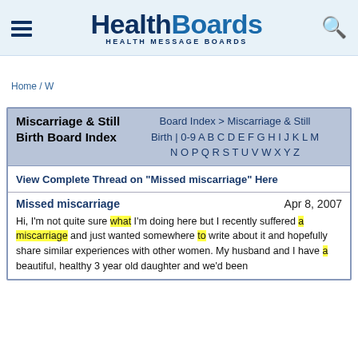HealthBoards HEALTH MESSAGE BOARDS
Home / W
Miscarriage & Still Birth Board Index
Board Index > Miscarriage & Still Birth | 0-9 A B C D E F G H I J K L M N O P Q R S T U V W X Y Z
View Complete Thread on "Missed miscarriage" Here
Missed miscarriage
Apr 8, 2007
Hi, I'm not quite sure what I'm doing here but I recently suffered a miscarriage and just wanted somewhere to write about it and hopefully share similar experiences with other women. My husband and I have a beautiful, healthy 3 year old daughter and we'd been